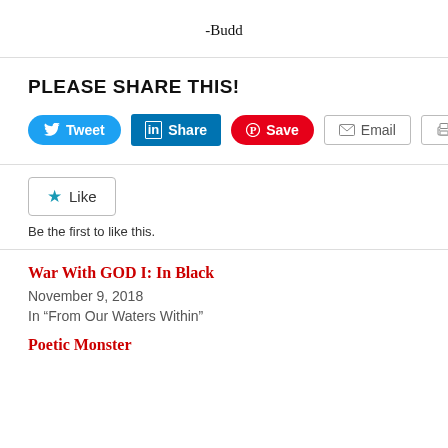-Budd
PLEASE SHARE THIS!
[Figure (screenshot): Social sharing buttons: Tweet (Twitter, blue), Share (LinkedIn, dark blue), Save (Pinterest, red), Email (grey outline), Print (grey outline)]
[Figure (screenshot): Like button with star icon and text 'Be the first to like this.']
War With GOD I: In Black
November 9, 2018
In “From Our Waters Within”
Poetic Monster